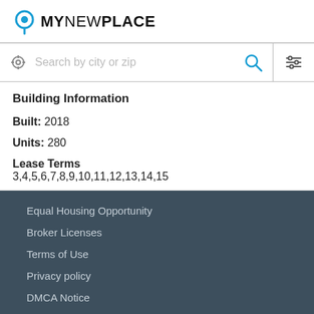[Figure (logo): MyNewPlace logo with location pin icon]
[Figure (screenshot): Search bar with location icon, placeholder text 'Search by city or zip', blue search icon, and filter icon]
Building Information
Built: 2018
Units: 280
Lease Terms
3,4,5,6,7,8,9,10,11,12,13,14,15
Equal Housing Opportunity
Broker Licenses
Terms of Use
Privacy policy
DMCA Notice
Help